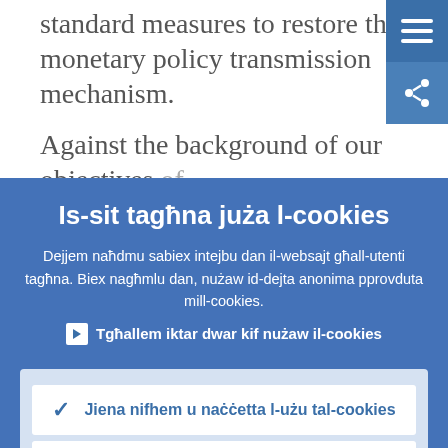standard measures to restore the monetary policy transmission mechanism.
Against the background of our objectives of price-stability and the monetary policy
Is-sit tagħna juża l-cookies
Dejjem naħdmu sabiex intejbu dan il-websajt għall-utenti tagħna. Biex nagħmlu dan, nużaw id-dejta anonima pprovduta mill-cookies.
Tgħallem iktar dwar kif nużaw il-cookies
Jiena nifhem u naċċetta l-użu tal-cookies
Jiena ma naċċettax l-użu tal-cookies